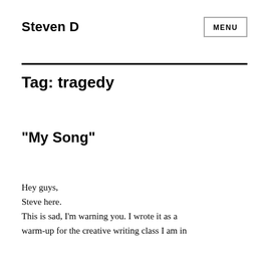Steven D
Tag: tragedy
"My Song"
Hey guys,
Steve here.
This is sad, I'm warning you. I wrote it as a warm-up for the creative writing class I am in